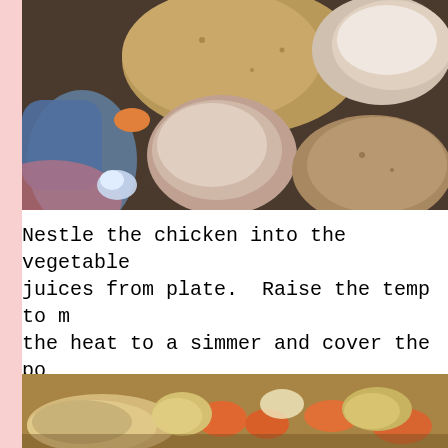[Figure (photo): Close-up photo of mushrooms and potatoes in a cooking pot, viewed from above with a spoon/utensil visible.]
Nestle the chicken into the vegetable juices from plate.  Raise the temp to m the heat to a simmer and cover the po needed.
[Figure (photo): Photo of chicken pieces with carrots and potatoes in a pot or pan, partially visible at bottom of page.]